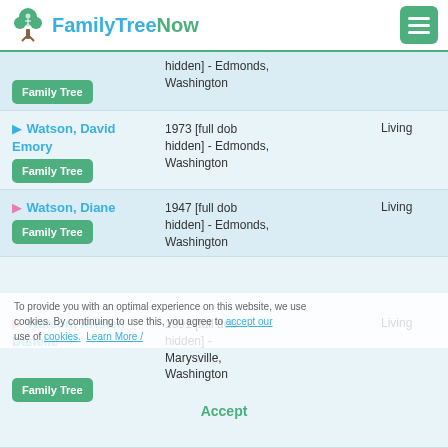FamilyTreeNow
Watson, David Emory | 1973 [full dob hidden] - Edmonds, Washington | Living
Watson, Diane | 1947 [full dob hidden] - Edmonds, Washington | Living
Watson, Kristen Danelle | 1991 [full dob hidden] - Marysville, Washington | Living
To provide you with an optimal experience on this website, we use cookies. By continuing to use this, you agree to accept our use of cookies. Learn More / Accept